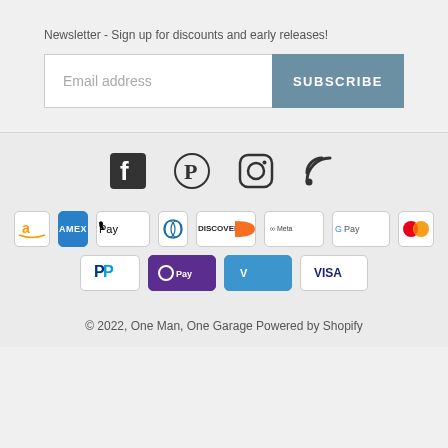Newsletter - Sign up for discounts and early releases!
[Figure (screenshot): Email address input field with Subscribe button]
[Figure (infographic): Social media icons: Facebook, Pinterest, Instagram, RSS feed]
[Figure (infographic): Payment method badges: Amazon, Amex, Apple Pay, Diners Club, Discover, Meta, Google Pay, Mastercard, PayPal, OPay, Venmo, Visa]
© 2022, One Man, One Garage Powered by Shopify